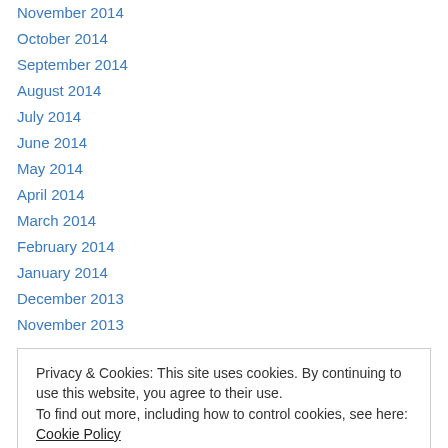November 2014
October 2014
September 2014
August 2014
July 2014
June 2014
May 2014
April 2014
March 2014
February 2014
January 2014
December 2013
November 2013
Privacy & Cookies: This site uses cookies. By continuing to use this website, you agree to their use. To find out more, including how to control cookies, see here: Cookie Policy
April 2013